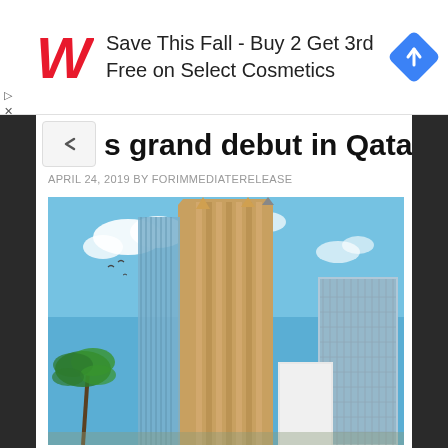[Figure (screenshot): Walgreens advertisement banner: red cursive W logo, text 'Save This Fall - Buy 2 Get 3rd Free on Select Cosmetics', blue diamond navigation icon on right]
s grand debut in Qatar
APRIL 24, 2019 BY FORIMMEDIATERELEASE
[Figure (photo): Architectural rendering of a tall modern skyscraper with gold/tan cladding and glass curtain wall panels against a blue sky with clouds, palm tree visible at lower left]